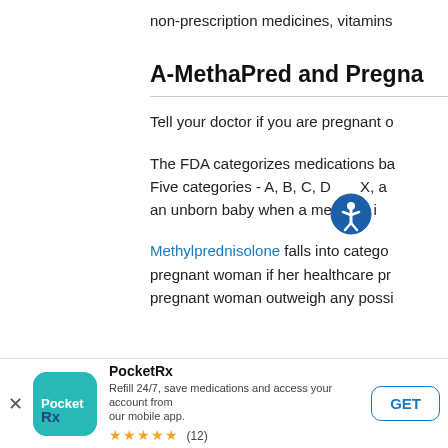non-prescription medicines, vitamins
A-MethaPred and Pregna
Tell your doctor if you are pregnant o
The FDA categorizes medications ba Five categories - A, B, C, D X, a an unborn baby when a med on i
Methylprednisolone falls into catego pregnant woman if her healthcare pr pregnant woman outweigh any possi
[Figure (other): Accessibility/wheelchair icon overlay, circular blue icon with person figure]
PocketRx
Refill 24/7, save medications and access your account from our mobile app.
★★★★★ (12)